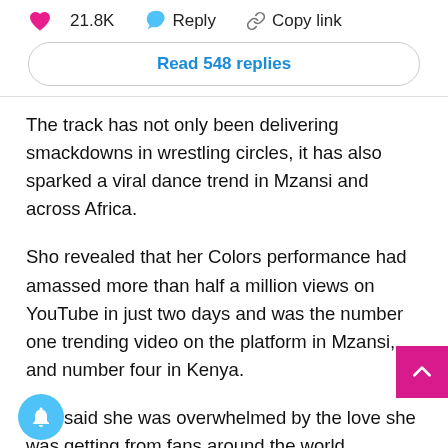21.8K   Reply   Copy link
Read 548 replies
The track has not only been delivering smackdowns in wrestling circles, it has also sparked a viral dance trend in Mzansi and across Africa.
Sho revealed that her Colors performance had amassed more than half a million views on YouTube in just two days and was the number one trending video on the platform in Mzansi, and number four in Kenya.
She said she was overwhelmed by the love she was getting from fans around the world.
“I just love you guys because you are doing the most on a